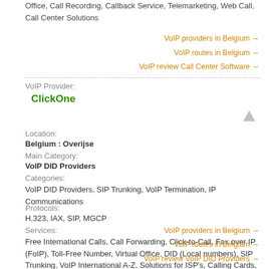Office, Call Recording, Callback Service, Telemarketing, Web Call, Call Center Solutions
VoIP providers in Belgium →
VoIP routes in Belgium →
VoIP review Call Center Software →
VoIP Provider:
ClickOne
Location:
Belgium : Overijse
Main Category:
VoIP DID Providers
Categories:
VoIP DID Providers, SIP Trunking, VoIP Termination, IP Communications
Protocols:
H.323, IAX, SIP, MGCP
Services:
Free International Calls, Call Forwarding, Click-to-Call, Fax over IP (FoIP), Toll-Free Number, Virtual Office, DID (Local numbers), SIP Trunking, VoIP International A-Z, Solutions for ISP's, Calling Cards, SMS Delivery Solutions, Call Center Solutions
VoIP providers in Belgium →
VoIP routes in Belgium →
VoIP review VoIP DID Providers →